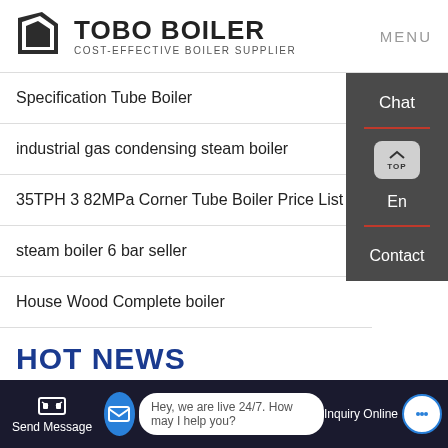[Figure (logo): Tobo Boiler logo with geometric icon, company name and tagline 'Cost-Effective Boiler Supplier']
Specification Tube Boiler
industrial gas condensing steam boiler
35TPH 3 82MPa Corner Tube Boiler Price List
steam boiler 6 bar seller
House Wood Complete boiler
HOT NEWS
Send Message | Hey, we are live 24/7. How may I help you? | Inquiry Online